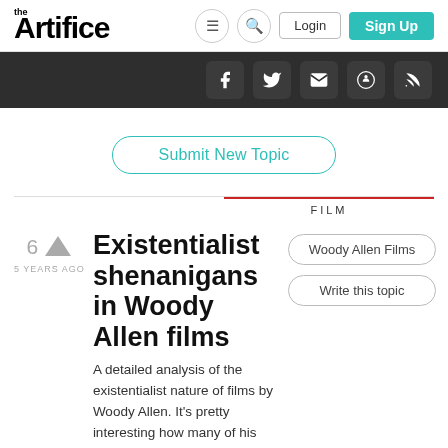the Artifice
[Figure (screenshot): Navigation bar with hamburger menu icon, search icon, Login button, and Sign Up button]
[Figure (screenshot): Dark social bar with Facebook, Twitter, Email, Reddit, and RSS feed icons]
Submit New Topic
FILM
6
5 YEARS AGO
Existentialist shenanigans in Woody Allen films
Woody Allen Films
Write this topic
A detailed analysis of the existentialist nature of films by Woody Allen. It's pretty interesting how many of his films challenge